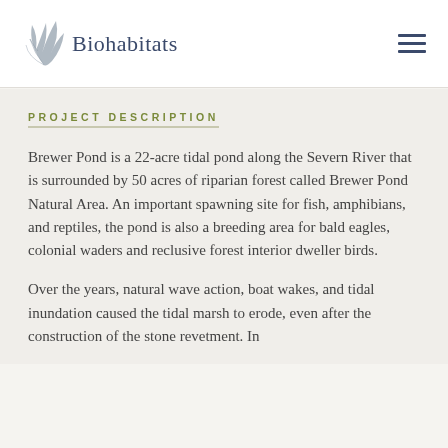Biohabitats
PROJECT DESCRIPTION
Brewer Pond is a 22-acre tidal pond along the Severn River that is surrounded by 50 acres of riparian forest called Brewer Pond Natural Area. An important spawning site for fish, amphibians, and reptiles, the pond is also a breeding area for bald eagles, colonial waders and reclusive forest interior dweller birds.
Over the years, natural wave action, boat wakes, and tidal inundation caused the tidal marsh to erode, even after the construction of the stone revetment. In